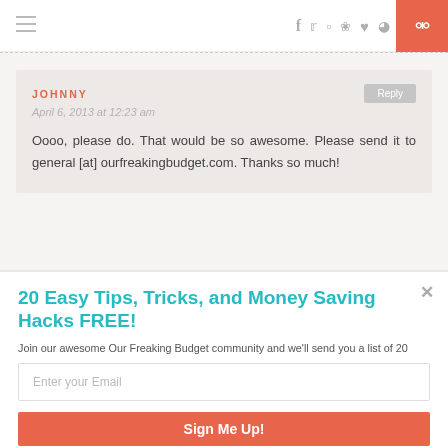Navigation bar with hamburger menu, social icons (f, twitter, instagram, pinterest, heart, rss), and search button
JOHNNY
April 6, 2013 at 12:23 am
Oooo, please do. That would be so awesome. Please send it to general [at] ourfreakingbudget.com. Thanks so much!
20 Easy Tips, Tricks, and Money Saving Hacks FREE!
Join our awesome Our Freaking Budget community and we'll send you a list of 20 different money-saving tips and hacks that you can start doing today to get more bang out of your budget.
Enter your Email
Sign Me Up!